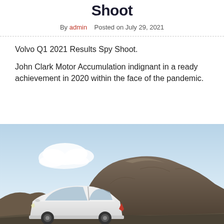Shoot
By admin   Posted on July 29, 2021
Volvo Q1 2021 Results Spy Shoot.
John Clark Motor Accumulation indignant in a ready achievement in 2020 within the face of the pandemic.
[Figure (photo): A white Volvo SUV (XC40) parked on a rocky coastal road with large granite rocks and overcast sky in the background.]